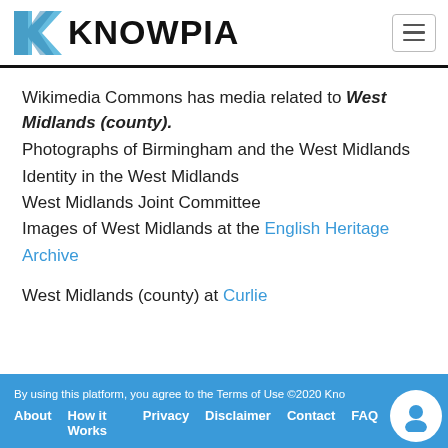KNOWPIA
Wikimedia Commons has media related to West Midlands (county).
Photographs of Birmingham and the West Midlands
Identity in the West Midlands
West Midlands Joint Committee
Images of West Midlands at the English Heritage Archive
West Midlands (county) at Curlie
By using this platform, you agree to the Terms of Use ©2020 Knowpia   About   How it Works   Privacy   Disclaimer   Contact   FAQ